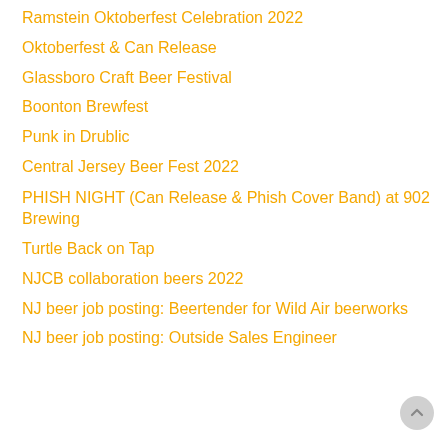Ramstein Oktoberfest Celebration 2022
Oktoberfest & Can Release
Glassboro Craft Beer Festival
Boonton Brewfest
Punk in Drublic
Central Jersey Beer Fest 2022
PHISH NIGHT (Can Release & Phish Cover Band) at 902 Brewing
Turtle Back on Tap
NJCB collaboration beers 2022
NJ beer job posting: Beertender for Wild Air beerworks
NJ beer job posting: Outside Sales Engineer